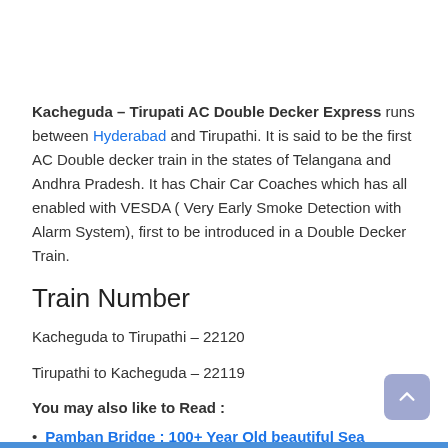Kacheguda – Tirupati AC Double Decker Express runs between Hyderabad and Tirupathi. It is said to be the first AC Double decker train in the states of Telangana and Andhra Pradesh. It has Chair Car Coaches which has all enabled with VESDA ( Very Early Smoke Detection with Alarm System), first to be introduced in a Double Decker Train.
Train Number
Kacheguda to Tirupathi – 22120
Tirupathi to Kacheguda – 22119
You may also like to Read :
Pamban Bridge : 100+ Year Old beautiful Sea Bridge